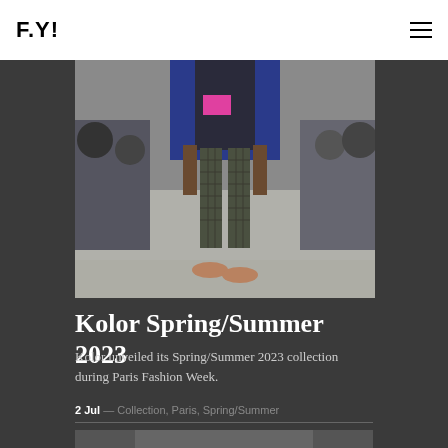F.Y!
[Figure (photo): Fashion show runway photo of a model wearing checkered trousers, a dark top with pink accent, and orange sneakers, walking on a light grey floor with audience seated in background]
Kolor Spring/Summer 2023
Kolor unveiled its Spring/Summer 2023 collection during Paris Fashion Week.
2 Jul — Collection, Paris, Spring/Summer
[Figure (photo): Bottom cropped fashion photo, partially visible]